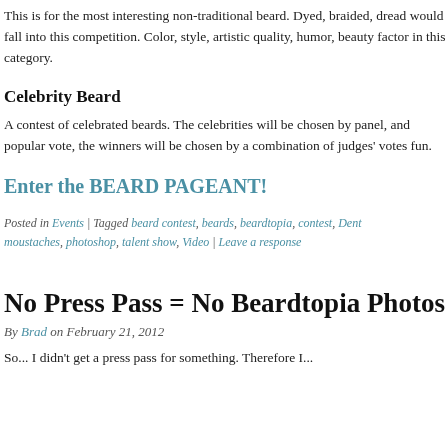This is for the most interesting non-traditional beard. Dyed, braided, dread would fall into this competition. Color, style, artistic quality, humor, beauty factor in this category.
Celebrity Beard
A contest of celebrated beards. The celebrities will be chosen by panel, and popular vote, the winners will be chosen by a combination of judges' votes fun.
Enter the BEARD PAGEANT!
Posted in Events | Tagged beard contest, beards, beardtopia, contest, Dent moustaches, photoshop, talent show, Video | Leave a response
No Press Pass = No Beardtopia Photos
By Brad on February 21, 2012
So... I didn't get a press pass for something. Therefore I...